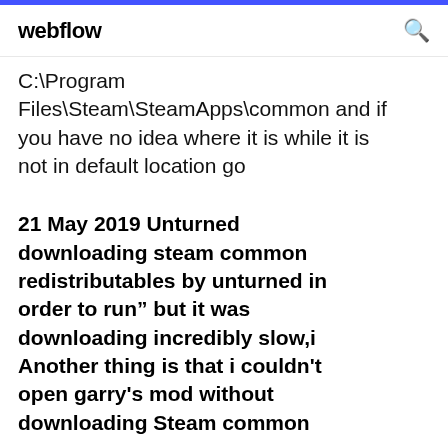webflow
C:\Program Files\Steam\SteamApps\common and if you have no idea where it is while it is not in default location go
21 May 2019 Unturned downloading steam common redistributables by unturned in order to run” but it was downloading incredibly slow,i Another thing is that i couldn't open garry's mod without downloading Steam common